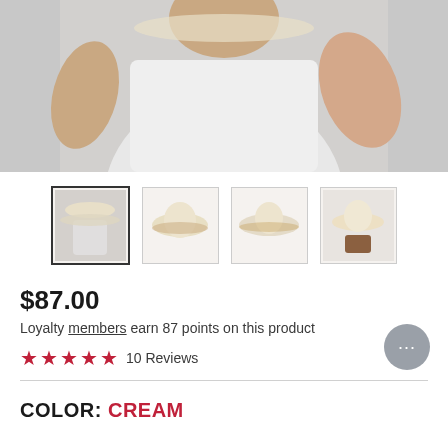[Figure (photo): Man wearing a cream straw cowboy hat, shown from chest up in white t-shirt against gray background]
[Figure (photo): Four thumbnail images of a cream straw cowboy hat: (1) man wearing hat, (2) front view of hat, (3) side view of hat, (4) hat on display stand]
$87.00
Loyalty members earn 87 points on this product
★★★★★ 10 Reviews
COLOR: CREAM